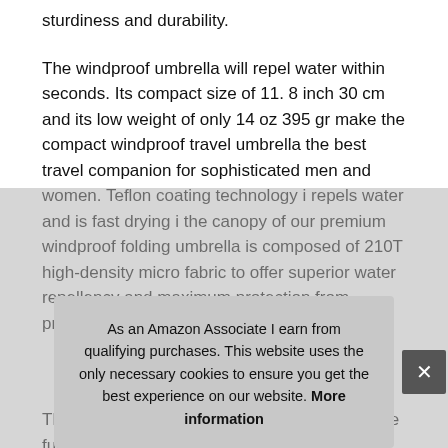sturdiness and durability.
The windproof umbrella will repel water within seconds. Its compact size of 11. 8 inch 30 cm and its low weight of only 14 oz 395 gr make the compact windproof travel umbrella the best travel companion for sophisticated men and women. Teflon coating technology i repels water and is fast drying i the canopy of our premium windproof folding umbrella is composed of 210T high-density micro fabric to offer superior water repellency and maximum protection from precipitation.
More information #ad
Thanks to the easy-touch automatic open-close function, slim proc and and
Sup compact umbrella combines style and functionality. It comes
As an Amazon Associate I earn from qualifying purchases. This website uses the only necessary cookies to ensure you get the best experience on our website. More information